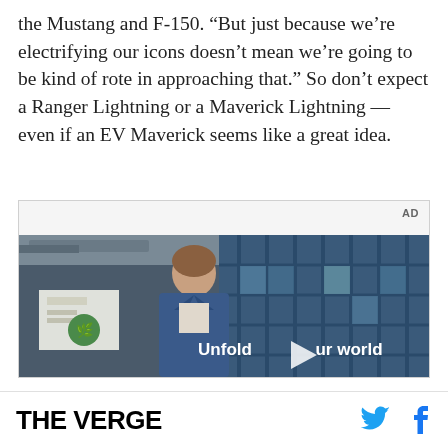the Mustang and F-150. “But just because we’re electrifying our icons doesn’t mean we’re going to be kind of rote in approaching that.” So don’t expect a Ranger Lightning or a Maverick Lightning — even if an EV Maverick seems like a great idea.
[Figure (screenshot): An advertisement video player showing a young man in a denim jacket standing in front of a building with glass windows. The video has a play button overlay and text reading 'Unfold your world'. An 'AD' label appears in the top right corner.]
THE VERGE